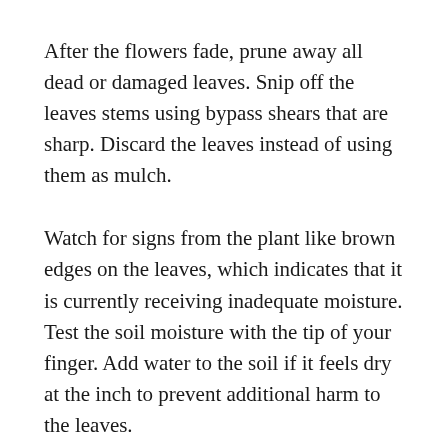After the flowers fade, prune away all dead or damaged leaves. Snip off the leaves stems using bypass shears that are sharp. Discard the leaves instead of using them as mulch.
Watch for signs from the plant like brown edges on the leaves, which indicates that it is currently receiving inadequate moisture. Test the soil moisture with the tip of your finger. Add water to the soil if it feels dry at the inch to prevent additional harm to the leaves.
Divide and replant ginger plants every couple of years to promote prolific blooming and a lush, womanly look. Dig up the large rhizomes in spring using a shovel. Break them into 2-